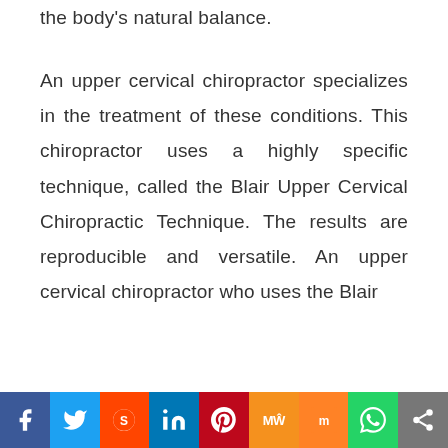the body's natural balance.
An upper cervical chiropractor specializes in the treatment of these conditions. This chiropractor uses a highly specific technique, called the Blair Upper Cervical Chiropractic Technique. The results are reproducible and versatile. An upper cervical chiropractor who uses the Blair
Social share bar: Facebook, Twitter, Reddit, LinkedIn, Pinterest, MeWe, Mix, WhatsApp, Share